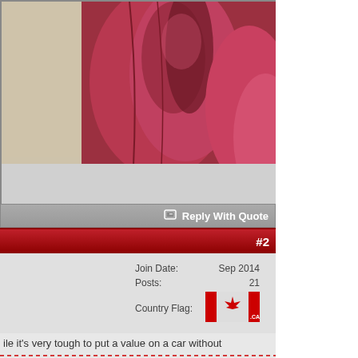[Figure (photo): Close-up of red and beige leather car interior seats/door panel]
Reply With Quote
#2
| Field | Value |
| --- | --- |
| Join Date: | Sep 2014 |
| Posts: | 21 |
| Country Flag: | [Canadian flag .CA] |
ile it's very tough to put a value on a car without y that it's probably worth at least $80-100K.